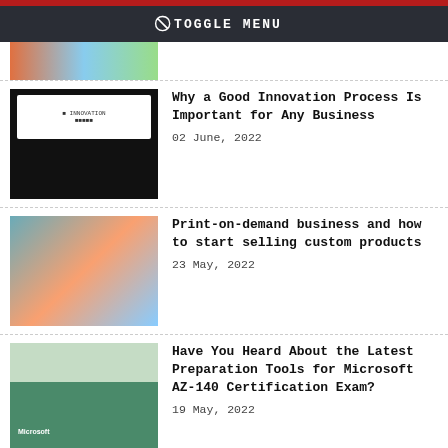TOGGLE MENU
[Figure (photo): Partial top image strip showing colorful illustration]
Why a Good Innovation Process Is Important for Any Business
02 June, 2022
Print-on-demand business and how to start selling custom products
23 May, 2022
Have You Heard About the Latest Preparation Tools for Microsoft AZ-140 Certification Exam?
19 May, 2022
What is boucle fabric - everything you need to know
05 May, 2022